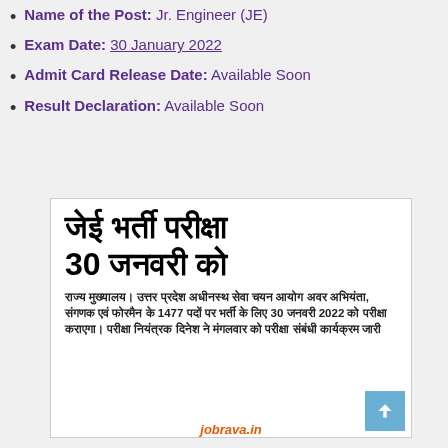Name of the Post: Jr. Engineer (JE)
Exam Date: 30 January 2022
Admit Card Release Date: Available Soon
Result Declaration: Available Soon
[Figure (photo): Newspaper clipping in Hindi about JE Bharti Pariksha (JE Recruitment Exam) on 30 January. Headline reads 'जेई भर्ती परीक्षा 30 जनवरी को'. Body text describes UP Subordinate Services Selection Commission exam for 1477 posts of Junior Engineer, Compiler and Foreman on 30 January 2022. Watermark 'jobrava.in' visible at bottom.]